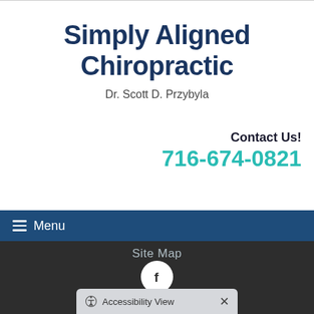Simply Aligned Chiropractic
Dr. Scott D. Przybyla
Contact Us!
716-674-0821
≡ Menu
Site Map
[Figure (logo): Facebook logo in white circle on dark background]
Accessibility View ×